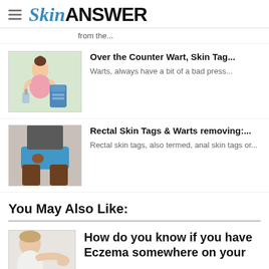SkinANSWER
from the...
[Figure (illustration): Illustration of a woman holding a bottle/product near her face]
Over the Counter Wart, Skin Tag...
Warts, always have a bit of a bad press...
[Figure (photo): Photo of a person from waist down wearing blue shorts]
Rectal Skin Tags & Warts removing:...
Rectal skin tags, also termed, anal skin tags or...
You May Also Like:
[Figure (photo): Photo of a woman scratching her arm]
How do you know if you have Eczema somewhere on your